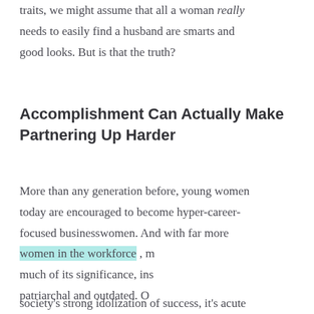traits, we might assume that all a woman really needs to easily find a husband are smarts and good looks. But is that the truth?
Accomplishment Can Actually Make Partnering Up Harder
More than any generation before, young women today are encouraged to become hyper-career-focused businesswomen. And with far more women in the workforce , m much of its significance, ins patriarchal and outdated. O
[Figure (screenshot): Black video player overlay with a circular loading/play icon in the center, and a close (x) button in the top-left corner of the overlay]
society's strong idolization of success, it's acute